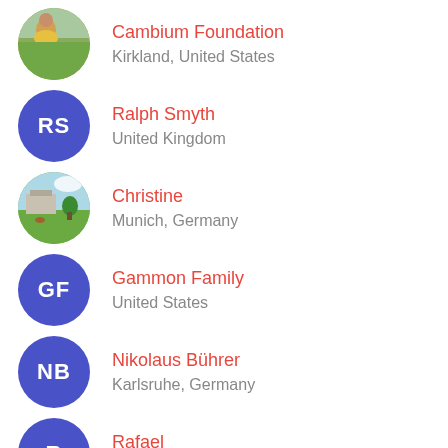Cambium Foundation, Kirkland, United States
Ralph Smyth, United Kingdom
Christine, Munich, Germany
Gammon Family, United States
Nikolaus Bührer, Karlsruhe, Germany
Rafael, Switzerland